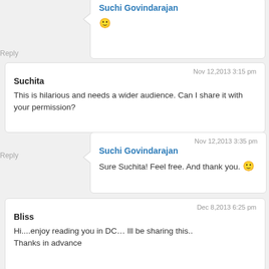Suchi Govindarajan
🙂
Reply
Nov 12,2013 3:15 pm
Suchita
This is hilarious and needs a wider audience. Can I share it with your permission?
Nov 12,2013 3:35 pm
Suchi Govindarajan
Sure Suchita! Feel free. And thank you. 🙂
Reply
Dec 8,2013 6:25 pm
Bliss
Hi....enjoy reading you in DC… Ill be sharing this.. Thanks in advance